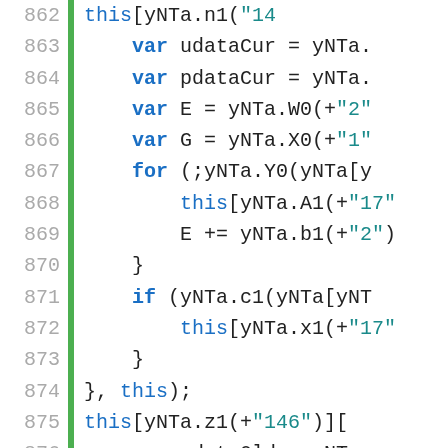[Figure (screenshot): Source code listing showing JavaScript/obfuscated code lines 862-885, with line numbers in grey on left, a green vertical gutter bar, and code with blue keywords and teal string literals on white background.]